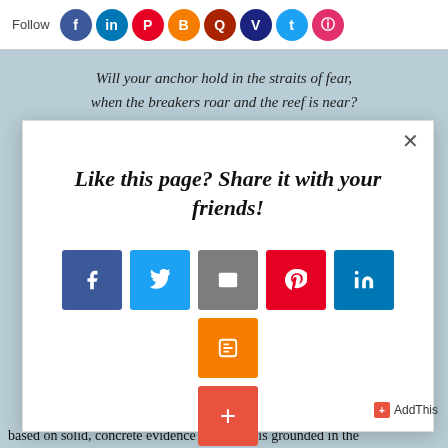Follow [social icons: Facebook, LinkedIn, Pinterest, Blogger, Quora, Vimeo, Twitter, Instagram]
fa...
grou...
Will your anchor hold in the straits of fear,
when the breakers roar and the reef is near?
[Figure (screenshot): Share modal dialog with title 'Like this page? Share it with your friends!' and social share buttons for Facebook, Twitter, Email, Pinterest, LinkedIn, Blogger, and a plus button]
based on solid, concrete evidence because it is grounded in the